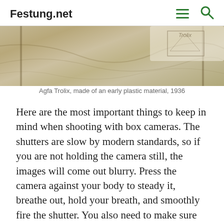Festung.net
[Figure (photo): Close-up photograph of crumpled or textured cloth/fabric material in sepia/tan tones, partially showing what appears to be packaging or a logo in the upper right corner]
Agfa Trolix, made of an early plastic material, 1936
Here are the most important things to keep in mind when shooting with box cameras. The shutters are slow by modern standards, so if you are not holding the camera still, the images will come out blurry. Press the camera against your body to steady it, breathe out, hold your breath, and smoothly fire the shutter. You also need to make sure you are a proper distance from your subject. While some box cameras offer different focus zones, most box cameras are fixed focus. With a Box 44,